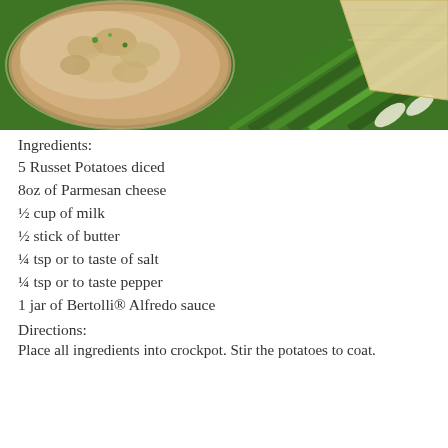[Figure (photo): Photo of mashed potato dish in a bowl with scallions/green onions and a wedge of Parmesan cheese on a green background]
Ingredients:
5 Russet Potatoes diced
8oz of Parmesan cheese
½ cup of milk
½ stick of butter
¼ tsp or to taste of salt
¼ tsp or to taste pepper
1 jar of Bertolli® Alfredo sauce
Directions:
Place all ingredients into crockpot. Stir the potatoes to coat.